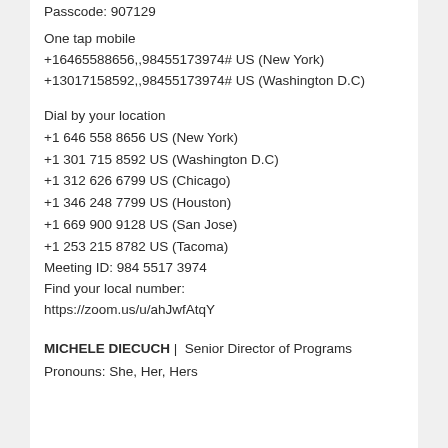Passcode: 907129
One tap mobile
+16465588656,,98455173974# US (New York)
+13017158592,,98455173974# US (Washington D.C)
Dial by your location
+1 646 558 8656 US (New York)
+1 301 715 8592 US (Washington D.C)
+1 312 626 6799 US (Chicago)
+1 346 248 7799 US (Houston)
+1 669 900 9128 US (San Jose)
+1 253 215 8782 US (Tacoma)
Meeting ID: 984 5517 3974
Find your local number:
https://zoom.us/u/ahJwfAtqY
MICHELE DIECUCH |  Senior Director of Programs
Pronouns: She, Her, Hers